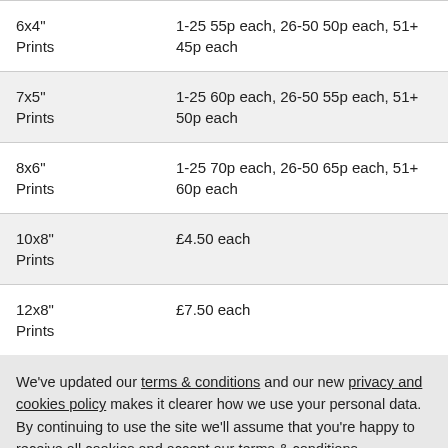| Product | Price |
| --- | --- |
| 6x4"
Prints | 1-25 55p each, 26-50 50p each, 51+ 45p each |
| 7x5"
Prints | 1-25 60p each, 26-50 55p each, 51+ 50p each |
| 8x6"
Prints | 1-25 70p each, 26-50 65p each, 51+ 60p each |
| 10x8"
Prints | £4.50 each |
| 12x8"
Prints | £7.50 each |
We've updated our terms & conditions and our new privacy and cookies policy makes it clearer how we use your personal data. By continuing to use the site we'll assume that you're happy to receive all cookies and accept our terms & conditions.
Accept & Close